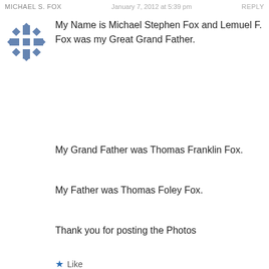MICHAEL S. FOX   January 7, 2012 at 5:39 pm   REPLY
My Name is Michael Stephen Fox and Lemuel F. Fox was my Great Grand Father.
My Grand Father was Thomas Franklin Fox.
My Father was Thomas Foley Fox.
Thank you for posting the Photos
★ Like
VIRGINIATRAILSCHRISTINE
January 10, 2012 at 10:57 am
Very cool! Have you ever been on the Fox